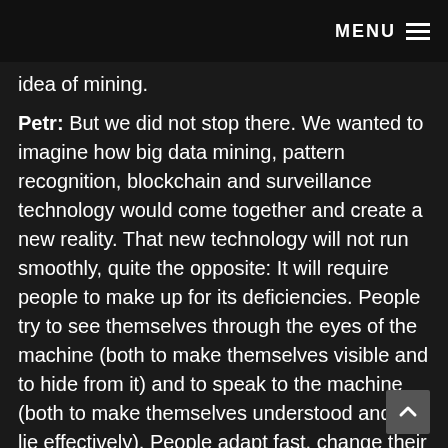MENU
idea of mining.
Petr: But we did not stop there. We wanted to imagine how big data mining, pattern recognition, blockchain and surveillance technology would come together and create a new reality. That new technology will not run smoothly, quite the opposite: It will require people to make up for its deficiencies. People try to see themselves through the eyes of the machine (both to make themselves visible and to hide from it) and to speak to the machine (both to make themselves understood and to lie effectively). People adapt fast, change their behavior — and you may call it, tongue-in-cheek, "human-centred design" — i.e., redesigning people by new technologies.
Denisa: We decided to develop further this unlikely scenario